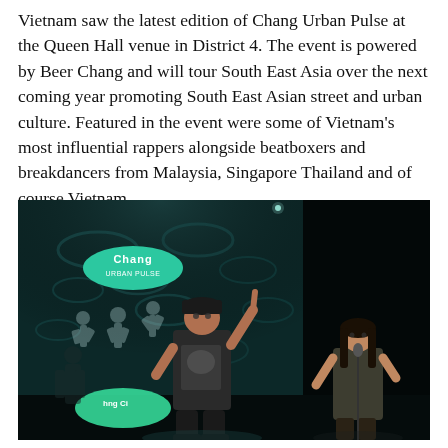Vietnam saw the latest edition of Chang Urban Pulse at the Queen Hall venue in District 4. The event is powered by Beer Chang and will tour South East Asia over the next coming year promoting South East Asian street and urban culture. Featured in the event were some of Vietnam's most influential rappers alongside beatboxers and breakdancers from Malaysia, Singapore Thailand and of course Vietnam.
[Figure (photo): Concert photo showing two performers on a dark stage. A rapper wearing a black beanie hat and graphic t-shirt stands center-left pointing upward with one finger. Another performer stands to the right. A large decorative backdrop with teal/dark patterns is visible behind them, featuring the Chang beer logo oval. A green glowing Chang oval sign is visible at the lower portion of the backdrop. Stage lighting creates a dark, moody atmosphere.]